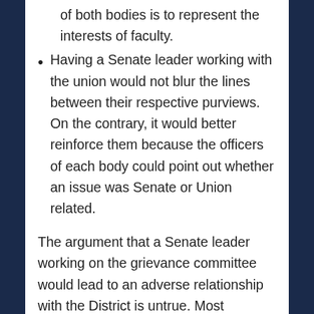of both bodies is to represent the interests of faculty.
Having a Senate leader working with the union would not blur the lines between their respective purviews. On the contrary, it would better reinforce them because the officers of each body could point out whether an issue was Senate or Union related.
The argument that a Senate leader working on the grievance committee would lead to an adverse relationship with the District is untrue. Most grievance officers never interact with the District directly. As the Senate President, however, interactions with the District are frequent. As the Senate President holds the duty of ensuring